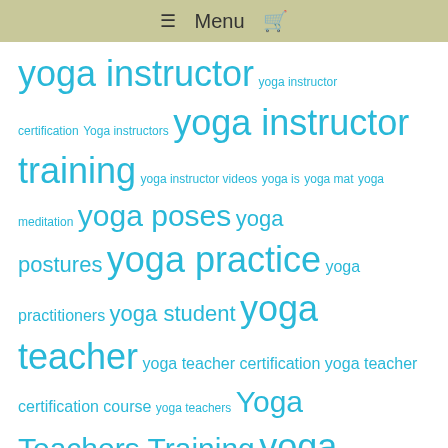≡ Menu 🛒
yoga instructor yoga instructor certification Yoga instructors yoga instructor training yoga instructor videos yoga is yoga mat yoga meditation yoga poses yoga postures yoga practice yoga practitioners yoga student yoga teacher yoga teacher certification yoga teacher certification course yoga teachers Yoga Teachers Training yoga teacher training yoga teaching certification yoga techniques yoga training